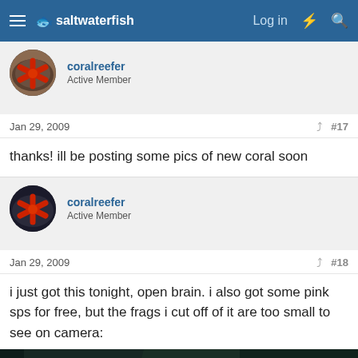saltwaterfish — Log in
coralreefer
Active Member
Jan 29, 2009  #17
thanks! ill be posting some pics of new coral soon
coralreefer
Active Member
Jan 29, 2009  #18
i just got this tonight, open brain. i also got some pink sps for free, but the frags i cut off of it are too small to see on camera:
[Figure (photo): Underwater photo of a coral reef tank showing sand substrate and dark rocky background with coral]